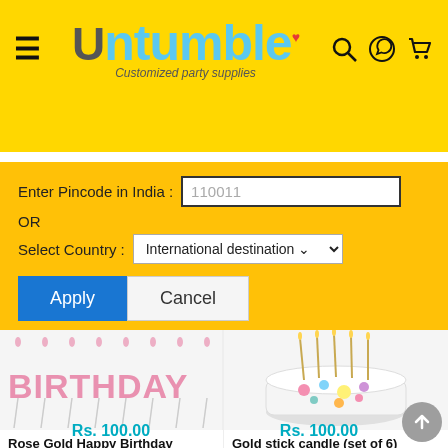[Figure (screenshot): Untumble website header with logo, hamburger menu, search, WhatsApp, and cart icons on yellow background]
Enter Pincode in India : 110011
OR
Select Country : International destination
Apply
Cancel
[Figure (photo): Rose Gold Happy Birthday Candle - pink metallic letter candles spelling BIRTHDAY on sticks]
Rose Gold Happy Birthday Candle
Rs. 100.00
[Figure (photo): Gold stick candle set of 6 on colorful decorated birthday cake]
Gold stick candle (set of 6)
Rs. 100.00